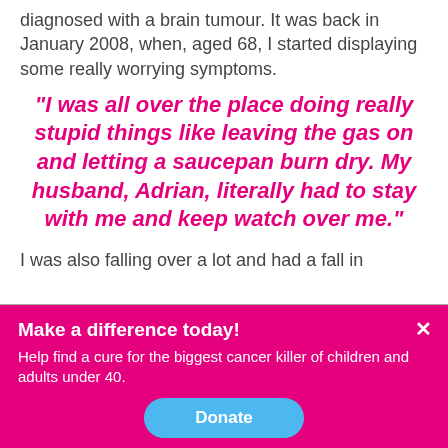diagnosed with a brain tumour. It was back in January 2008, when, aged 68, I started displaying some really worrying symptoms.
“I was all over the place doing really stupid things like leaving the gas on and letting a saucepan burn dry. My husband, Adrian, literally had to stay with me and keep watch over me.”
I was also falling over a lot and had a fall in
Make a difference today!
Help find a cure for the biggest cancer killer of children and adults under 40.
Donate